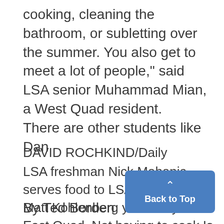cooking, cleaning the bathroom, or subletting over the summer. You also get to meet a lot of people," said LSA senior Muhammad Mian, a West Quad resident.
There are other students like Dan
DAVID ROCHKIND/Daily
LSA freshman Nick Mahanic serves food to LSA freshman Matt Kohlenberg yesterday in East Quad. Not having to cook Is a popular benefit of living in a residence hall
By Ted Borden